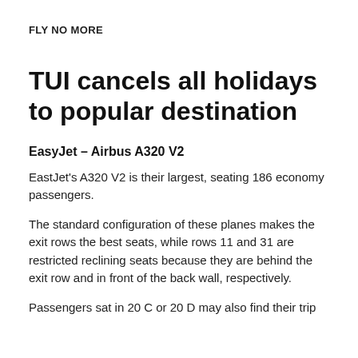FLY NO MORE
TUI cancels all holidays to popular destination
EasyJet – Airbus A320 V2
EastJet's A320 V2 is their largest, seating 186 economy passengers.
The standard configuration of these planes makes the exit rows the best seats, while rows 11 and 31 are restricted reclining seats because they are behind the exit row and in front of the back wall, respectively.
Passengers sat in 20 C or 20 D may also find their trip